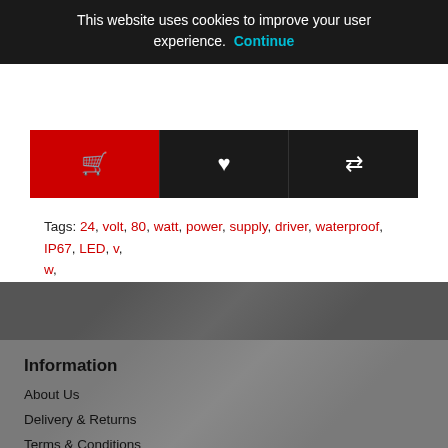This website uses cookies to improve your user experience. Continue
[Figure (screenshot): Three buttons: red cart button with shopping cart icon, dark wishlist button with heart icon, dark compare button with arrows icon]
Tags: 24, volt, 80, watt, power, supply, driver, waterproof, IP67, LED, v, w,
Information
About Us
Delivery & Returns
Terms & Conditions
Privacy Policy
Customer Service
Contact Us
Site Map